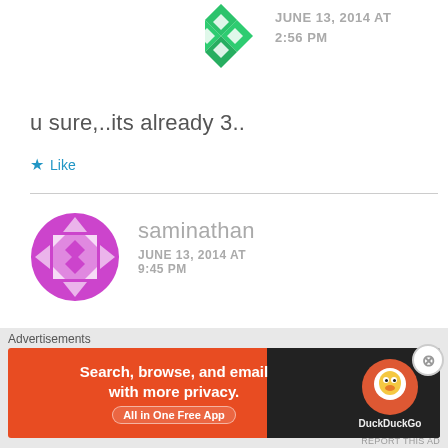[Figure (illustration): Green geometric/diamond pattern avatar icon (Dropbox-style)]
JUNE 13, 2014 AT 2:56 PM
u sure,..its already 3..
Like
[Figure (illustration): Purple circular geometric pattern avatar icon]
saminathan JUNE 13, 2014 AT 9:45 PM
when its next stock
Advertisements
[Figure (screenshot): DuckDuckGo advertisement banner: Search, browse, and email with more privacy. All in One Free App]